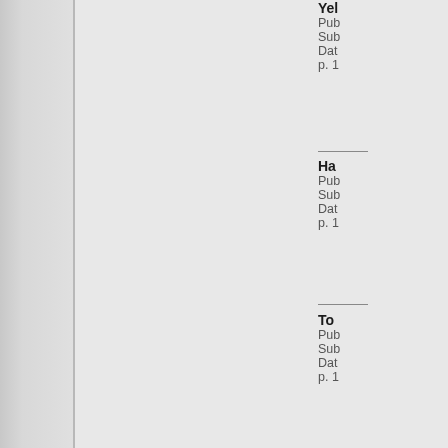Yel...
Pub...
Sub...
Dat...
p. 1...
Hav...
Pub...
Sub...
Dat...
p. 1...
To ...
Pub...
Sub...
Dat...
p. 1...
Dai...
Pub...
Sub...
Dat...